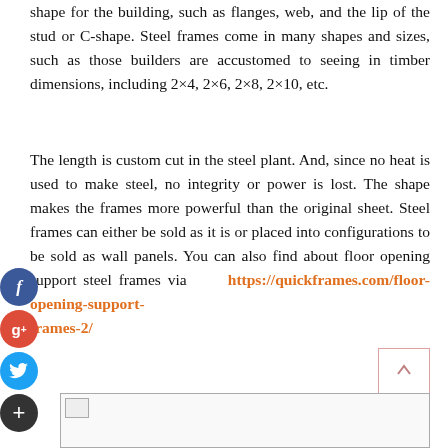shape for the building, such as flanges, web, and the lip of the stud or C-shape. Steel frames come in many shapes and sizes, such as those builders are accustomed to seeing in timber dimensions, including 2×4, 2×6, 2×8, 2×10, etc.
The length is custom cut in the steel plant. And, since no heat is used to make steel, no integrity or power is lost. The shape makes the frames more powerful than the original sheet. Steel frames can either be sold as it is or placed into configurations to be sold as wall panels. You can also find about floor opening support steel frames via https://quickframes.com/floor-opening-support-frames-2/
[Figure (photo): Image placeholder at bottom of page]